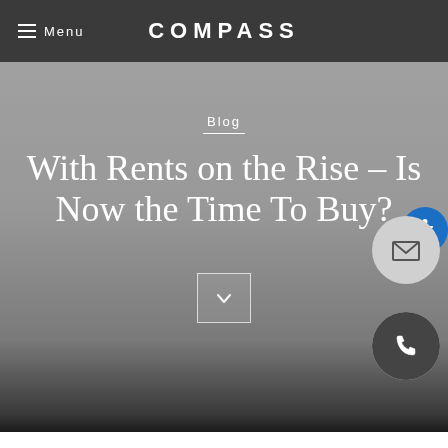Menu  COMPASS
Blog
With Rents on the Rise – Is Now the Time To Buy?
[Figure (other): Down chevron button / scroll indicator inside a thin-bordered rectangle]
[Figure (other): Blue circular accessibility icon with person figure]
[Figure (other): Light gray circular email/envelope icon button]
[Figure (other): Dark gray circular phone icon button]